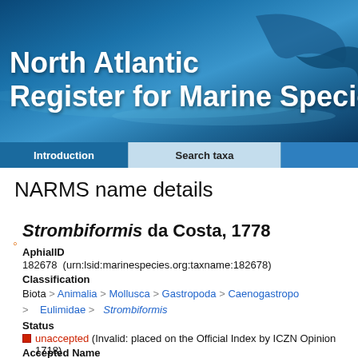[Figure (photo): Ocean/whale tail background image for North Atlantic Register for Marine Species website header]
North Atlantic Register for Marine Species
Introduction | Search taxa
NARMS name details
Strombiformis da Costa, 1778
AphialID
182678  (urn:lsid:marinespecies.org:taxname:182678)
Classification
Biota > Animalia > Mollusca > Gastropoda > Caenogastropoda > Eulimidae > Strombiformis
Status
unaccepted (Invalid: placed on the Official Index by ICZN Opinion 1718)
Accepted Name